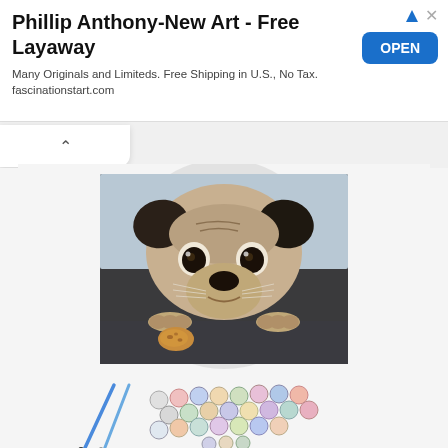[Figure (screenshot): Advertisement banner: Phillip Anthony-New Art - Free Layaway. Many Originals and Limiteds. Free Shipping in U.S., No Tax. fascinationstart.com. Blue OPEN button on right.]
[Figure (photo): Product image of a Paint by Numbers DIY Acrylic Painting Kit showing a cute pug dog peering over a table edge at a cookie, with paint supplies (brushes and paint pots) shown below the canvas.]
Paint by Numbers DIY Acrylic Painting Kit for Kids Adults Silent Harbor Pattern with 3 Brushes